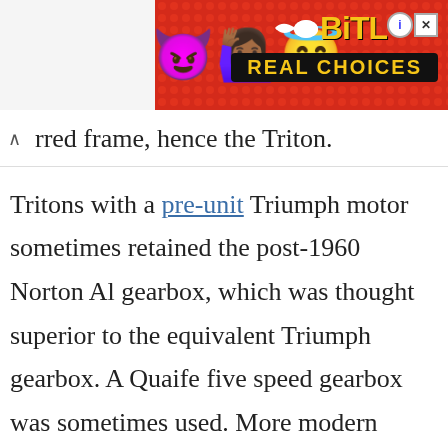[Figure (screenshot): Advertisement banner for BitLife app with red dotted background, emoji characters (devil, woman raising hands, angel), sperm icon, BitLife logo in yellow text, info badge, close button, and 'REAL CHOICES' text on black background]
rred frame, hence the Triton.
Tritons with a pre-unit Triumph motor sometimes retained the post-1960 Norton Al gearbox, which was thought superior to the equivalent Triumph gearbox. A Quaife five speed gearbox was sometimes used. More modern Tritons use a Triumph unit construction twin in a Featherbed frame.
...